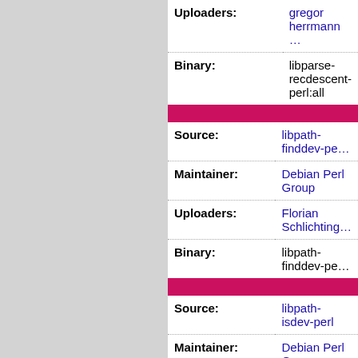| Field | Value |
| --- | --- |
| Uploaders: | gregor herrmann … |
| Binary: | libparse-recdescent-perl:all |
| Field | Value |
| --- | --- |
| Source: | libpath-finddev-pe… |
| Maintainer: | Debian Perl Group |
| Uploaders: | Florian Schlichting… |
| Binary: | libpath-finddev-pe… |
| Field | Value |
| --- | --- |
| Source: | libpath-isdev-perl |
| Maintainer: | Debian Perl Group |
| Uploaders: | Florian Schlichting… |
| Binary: | libpath-isdev-perl:… |
| Field | Value |
| --- | --- |
| Source: | libpdf-report-perl |